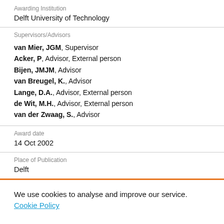Awarding Institution
Delft University of Technology
Supervisors/Advisors
van Mier, JGM, Supervisor
Acker, P, Advisor, External person
Bijen, JMJM, Advisor
van Breugel, K., Advisor
Lange, D.A., Advisor, External person
de Wit, M.H., Advisor, External person
van der Zwaag, S., Advisor
Award date
14 Oct 2002
Place of Publication
Delft
We use cookies to analyse and improve our service. Cookie Policy